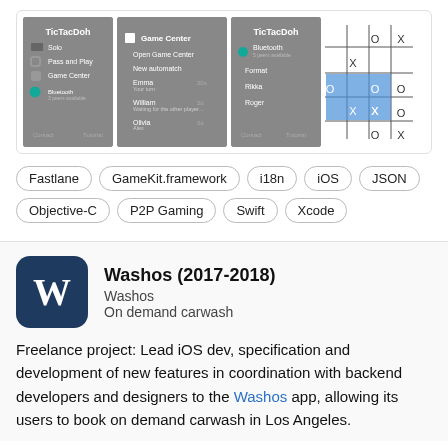[Figure (screenshot): Three iOS app screenshots of TicTacDoh game showing main menu, Game Center, and Bluetooth settings screens, plus a tic-tac-toe game grid with X and O pieces and a blue highlighted area]
Fastlane
GameKit.framework
i18n
iOS
JSON
Objective-C
P2P Gaming
Swift
Xcode
Washos (2017-2018)
Washos
On demand carwash
Freelance project: Lead iOS dev, specification and development of new features in coordination with backend developers and designers to the Washos app, allowing its users to book on demand carwash in Los Angeles.